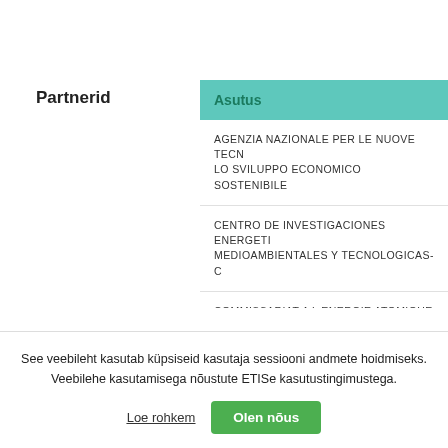Partnerid
| Asutus |
| --- |
| AGENZIA NAZIONALE PER LE NUOVE TECNOLOGIE, L'ENERGIA E LO SVILUPPO ECONOMICO SOSTENIBILE |
| CENTRO DE INVESTIGACIONES ENERGETICAS MEDIOAMBIENTALES Y TECNOLOGICAS-C |
| COMMISSARIAT A L ENERGIE ATOMIQUE ET AUX ENERGIES ALTERNATIVES |
| DANMARKS TEKNISKE UNIVERSITET |
| DUBLIN CITY UNIVERSITY |
| ECOLE POLYTECHNIQUE FEDERALE DE LA... |
| ECOLE ROYALE MILITAIRE - KONINKLIJKE M... |
| FORSCHUNGSZENTRUM JULICH GMBH |
See veebileht kasutab küpsiseid kasutaja sessiooni andmete hoidmiseks. Veebilehe kasutamisega nõustute ETISe kasutustingimustega.
Loe rohkem
Olen nõus